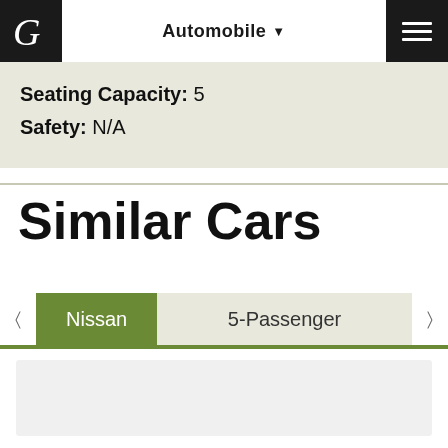Automobile
Seating Capacity: 5
Safety: N/A
Similar Cars
Nissan | 5-Passenger